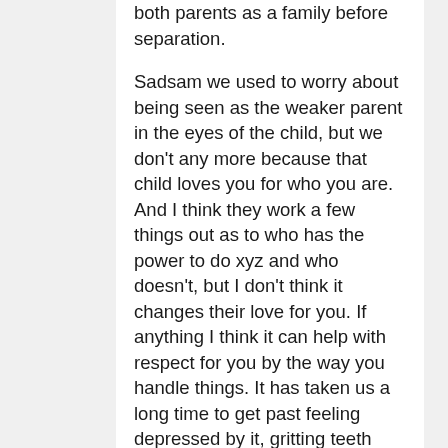both parents as a family before separation.
Sadsam we used to worry about being seen as the weaker parent in the eyes of the child, but we don't any more because that child loves you for who you are. And I think they work a few things out as to who has the power to do xyz and who doesn't, but I don't think it changes their love for you. If anything I think it can help with respect for you by the way you handle things. It has taken us a long time to get past feeling depressed by it, gritting teeth over it and to come to a position where you accept it is